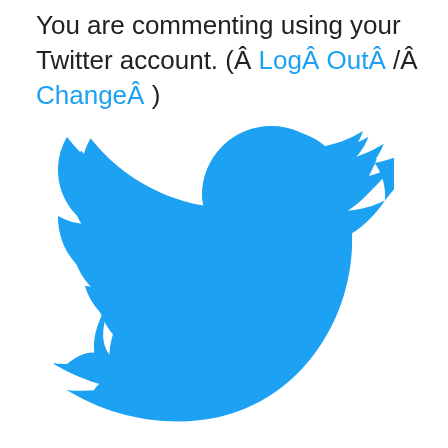You are commenting using your Twitter account. ( Â Log Â Out Â / Â  Change Â )
[Figure (logo): Twitter bird logo in blue color, large centered illustration]